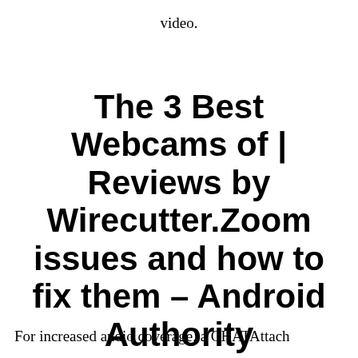video.
The 3 Best Webcams of | Reviews by Wirecutter.Zoom issues and how to fix them – Android Authority
For increased audio coverage, a CHATAttach